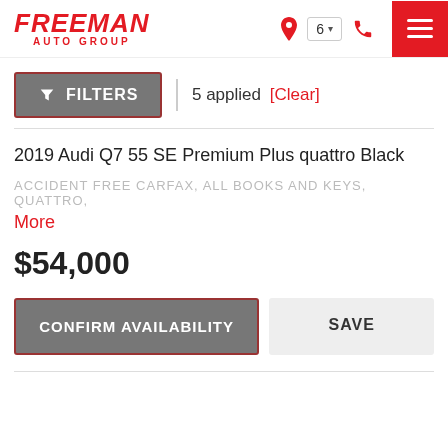FREEMAN AUTO GROUP
FILTERS | 5 applied [Clear]
2019 Audi Q7 55 SE Premium Plus quattro Black
ACCIDENT FREE CARFAX, ALL BOOKS AND KEYS, QUATTRO,
More
$54,000
CONFIRM AVAILABILITY   SAVE